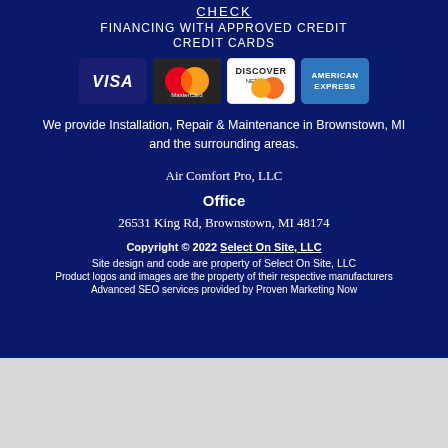CHECK
FINANCING WITH APPROVED CREDIT
CREDIT CARDS
[Figure (logo): Four credit card logos: Visa, MasterCard, Discover Network, American Express]
We provide Installation, Repair & Maintenance in Brownstown, MI and the surrounding areas.
Air Comfort Pro, LLC
Office
26531 King Rd, Brownstown, MI 48174
Copyright © 2022 Select On Site, LLC
Site design and code are property of Select On Site, LLC
Product logos and images are the property of their respective manufacturers
Advanced SEO services provided by Proven Marketing Now